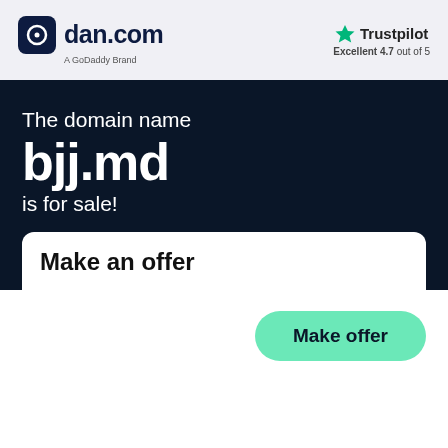[Figure (logo): dan.com logo with dark blue rounded square icon and text 'dan.com', subtitle 'A GoDaddy Brand']
[Figure (logo): Trustpilot logo with green star, text 'Trustpilot', subtitle 'Excellent 4.7 out of 5']
The domain name
bjj.md
is for sale!
Make an offer
Make offer